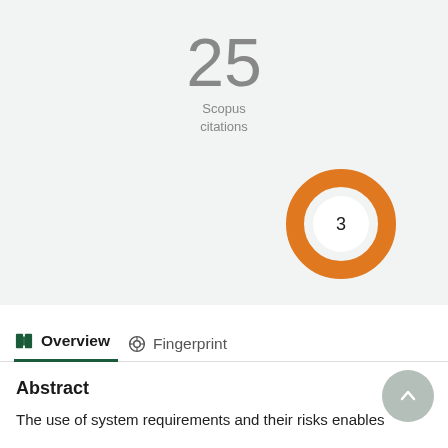[Figure (donut-chart): Donut chart showing 3 with orange ring, center white circle with '3']
25
Scopus
citations
Overview
Fingerprint
Abstract
The use of system requirements and their risks enables